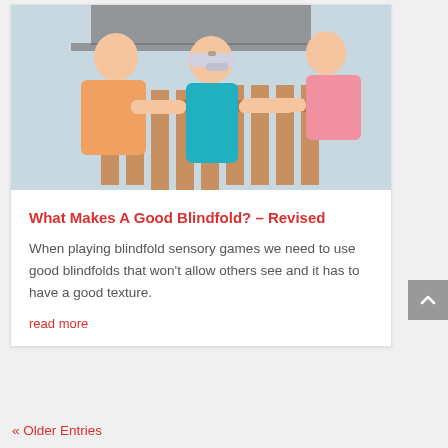[Figure (photo): Three children playing a blindfold game outdoors near a wooden fence. The child in the middle wears a blindfold/eye covering, while two other children on either side hold their arms out.]
What Makes A Good Blindfold? – Revised
When playing blindfold sensory games we need to use good blindfolds that won't allow others see and it has to have a good texture.
read more
« Older Entries